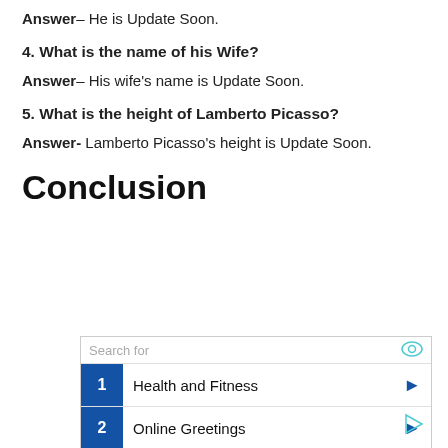Answer– He is Update Soon.
4. What is the name of his Wife?
Answer– His wife's name is Update Soon.
5. What is the height of Lamberto Picasso?
Answer- Lamberto Picasso's height is Update Soon.
Conclusion
[Figure (other): Advertisement box with 'Search for' header and two rows: 1. Health and Fitness, 2. Online Greetings, with blue number badges and blue arrow icons]